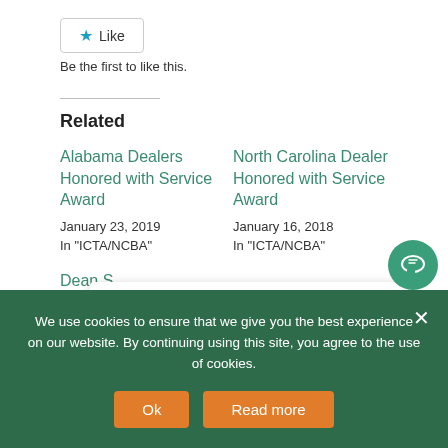[Figure (other): Like button with blue star icon and text 'Like']
Be the first to like this.
Related
Alabama Dealers Honored with Service Award
January 23, 2019
In "ICTA/NCBA"
North Carolina Dealer Honored with Service Award
January 16, 2018
In "ICTA/NCBA"
Dean S... Service...
Thank you for visiting. You
We use cookies to ensure that we give you the best experience on our website. By continuing using this site, you agree to the use of cookies.